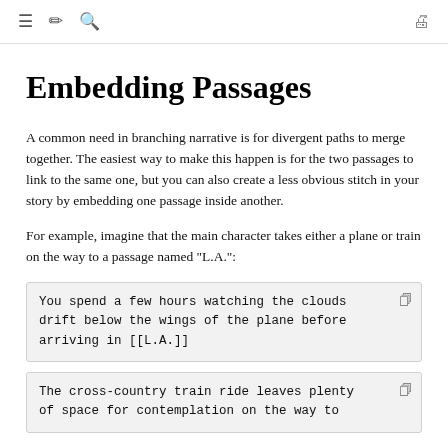≡  ✏  🔍  🖨
Embedding Passages
A common need in branching narrative is for divergent paths to merge together. The easiest way to make this happen is for the two passages to link to the same one, but you can also create a less obvious stitch in your story by embedding one passage inside another.
For example, imagine that the main character takes either a plane or train on the way to a passage named "L.A.":
You spend a few hours watching the clouds drift below the wings of the plane before arriving in [[L.A.]]
The cross-country train ride leaves plenty of space for contemplation on the way to